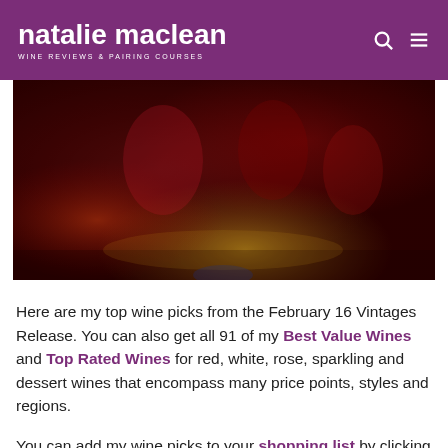natalie maclean — WINE REVIEWS & PAIRING COURSES
[Figure (photo): Close-up photo of dark red wine glasses or wine-filled crystal glasses with warm golden background tones, blurred bokeh effect]
Here are my top wine picks from the February 16 Vintages Release. You can also get all 91 of my Best Value Wines and Top Rated Wines for red, white, rose, sparkling and dessert wines that encompass many price points, styles and regions.
You can add my wine picks to your shopping list by clicking on the little shopping cart icon. You can also create a custom list just for this release that will be saved to your...